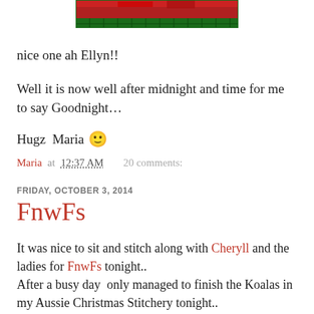[Figure (photo): Top portion of a cropped photo showing red and green fabric/quilt with a ruler, showing teal/green binding at bottom edge]
nice one ah Ellyn!!
Well it is now well after midnight and time for me to say Goodnight…
Hugz  Maria 😊
Maria at 12:37 AM    20 comments:
FRIDAY, OCTOBER 3, 2014
FnwFs
It was nice to sit and stitch along with Cheryll and the ladies for FnwFs tonight..
After a busy day  only managed to finish the Koalas in my Aussie Christmas Stitchery tonight..